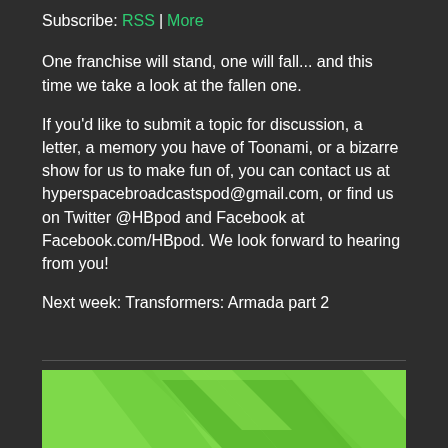Subscribe: RSS | More
One franchise will stand, one will fall... and this time we take a look at the fallen one.
If you'd like to submit a topic for discussion, a letter, a memory you have of Toonami, or a bizarre show for us to make fun of, you can contact us at hyperspacebroadcastspod@gmail.com, or find us on Twitter @HBpod and Facebook at Facebook.com/HBpod. We look forward to hearing from you!
Next week: Transformers: Armada part 2
[Figure (illustration): Green background with darker green overlapping chevron/mountain shapes forming a geometric pattern]